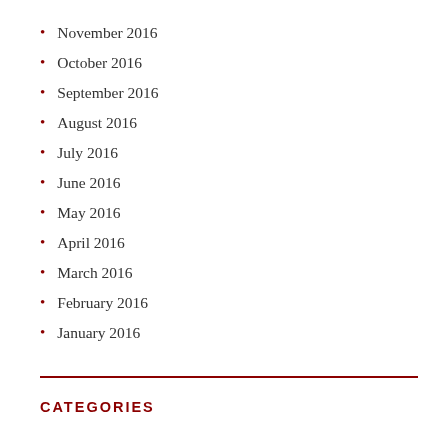November 2016
October 2016
September 2016
August 2016
July 2016
June 2016
May 2016
April 2016
March 2016
February 2016
January 2016
CATEGORIES